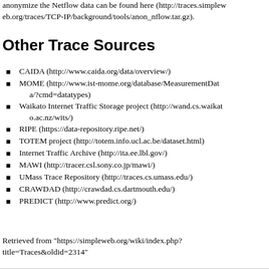anonymize the Netflow data can be found here (http://traces.simpleweb.org/traces/TCP-IP/background/tools/anon_nflow.tar.gz).
Other Trace Sources
CAIDA (http://www.caida.org/data/overview/)
MOME (http://www.ist-mome.org/database/MeasurementData/?cmd=datatypes)
Waikato Internet Traffic Storage project (http://wand.cs.waikato.ac.nz/wits/)
RIPE (https://data-repository.ripe.net/)
TOTEM project (http://totem.info.ucl.ac.be/dataset.html)
Internet Traffic Archive (http://ita.ee.lbl.gov/)
MAWI (http://tracer.csl.sony.co.jp/mawi/)
UMass Trace Repository (http://traces.cs.umass.edu/)
CRAWDAD (http://crawdad.cs.dartmouth.edu/)
PREDICT (http://www.predict.org/)
Retrieved from "https://simpleweb.org/wiki/index.php?title=Traces&oldid=2314"